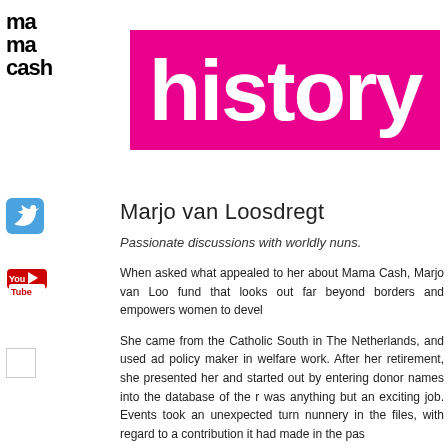[Figure (logo): Mama Cash stacked text logo in black bold font]
[Figure (logo): Mama Cash history banner with white bold 'history' text on magenta/pink background]
[Figure (logo): Twitter bird icon in blue square]
[Figure (logo): YouTube logo in red and white]
[Figure (other): Small white square share box with grey border]
Marjo van Loosdregt
Passionate discussions with worldly nuns.
When asked what appealed to her about Mama Cash, Marjo van Loosdregt... fund that looks out far beyond borders and empowers women to develop...
She came from the Catholic South in The Netherlands, and used ad... policy maker in welfare work. After her retirement, she presented her... and started out by entering donor names into the database of the r... was anything but an exciting job. Events took an unexpected turn... nunnery in the files, with regard to a contribution it had made in the pas...
Marjo van Loosdregt had always been fascinated by the work of nuns... comprise highly emancipated women who work around the world in h... understand the position of marginalised women and girls. It had to be... Cash's work because of this awareness!'